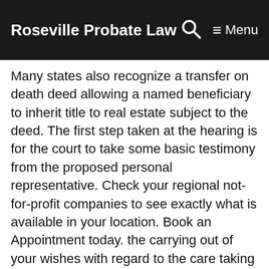Roseville Probate Law   🔍   ☰ Menu
Many states also recognize a transfer on death deed allowing a named beneficiary to inherit title to real estate subject to the deed. The first step taken at the hearing is for the court to take some basic testimony from the proposed personal representative. Check your regional not-for-profit companies to see exactly what is available in your location. Book an Appointment today. the carrying out of your wishes with regard to the care taking of your person or remains upon your incapacity or death. I passed the CPA examination in Massachusetts in 1985 but am not licensed as a CPA in California. Name Beneficiaries When Possible. Probate Attorney is all the property in the estate is owned as